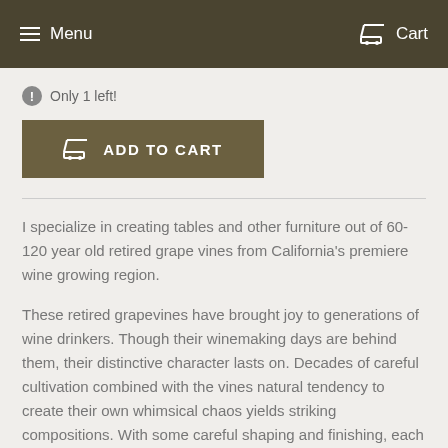Menu   Cart
Only 1 left!
ADD TO CART
I specialize in creating tables and other furniture out of 60-120 year old retired grape vines from California's premiere wine growing region.
These retired grapevines have brought joy to generations of wine drinkers. Though their winemaking days are behind them, their distinctive character lasts on. Decades of careful cultivation combined with the vines natural tendency to create their own whimsical chaos yields striking compositions. With some careful shaping and finishing, each piece becomes a work of art suitable for